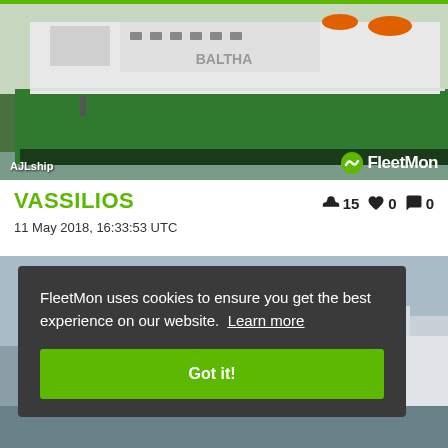[Figure (photo): Large green and white cargo/RoRo vessel seen from bow, passing through canal or waterway. White superstructure on top, green hull. Trees visible in background. Photo credited to AJLship via FleetMon.]
VASSILIOS
👍 15   ❤ 0   💬 0
11 May 2018, 16:33:53 UTC
[Figure (photo): Partial second ship photo visible behind cookie consent banner. Grey sky and vessel partially visible.]
FleetMon uses cookies to ensure you get the best experience on our website. Learn more
Got it!